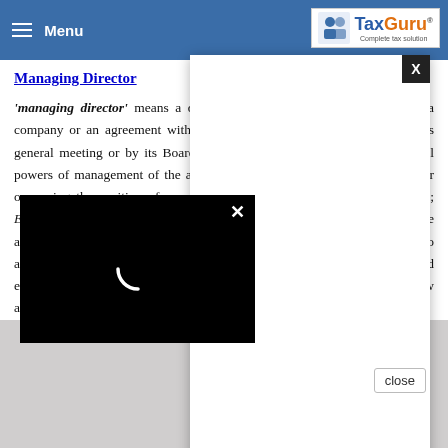Managing Director: Section 2(54) of the Companies Act, 2013, defines Managing Director.
Managing Director
'managing director' means a director who by virtue of the articles of a company or an agreement with the company or a resolution passed in its general meeting or by its Board of Directors, is entrusted with substantial powers of management of the affairs of a company and includes a director occupying the position of a managing director, by whatever name called; Explanation: For the purposes of this clause, the power to do administrative acts of a routine nature when so authorised by the Board such as the power to affix the common seal of the company to any document or to draw and endorse any cheque on the account of the company in any bank or to draw and endorse
[Figure (screenshot): White modal popup overlaid on article content with X close button in top-right corner]
[Figure (screenshot): Black video loading modal with white spinner arc and X close button, overlaid on article]